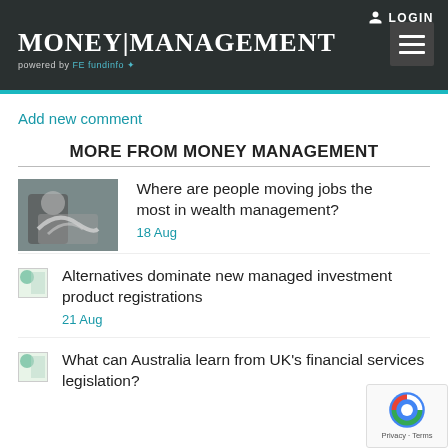MONEY|MANAGEMENT powered by FE fundinfo
Add new comment
MORE FROM MONEY MANAGEMENT
[Figure (photo): Two people shaking hands in a business setting]
Where are people moving jobs the most in wealth management?
18 Aug
[Figure (photo): Placeholder image thumbnail]
Alternatives dominate new managed investment product registrations
21 Aug
[Figure (photo): Placeholder image thumbnail]
What can Australia learn from UK's financial services legislation?